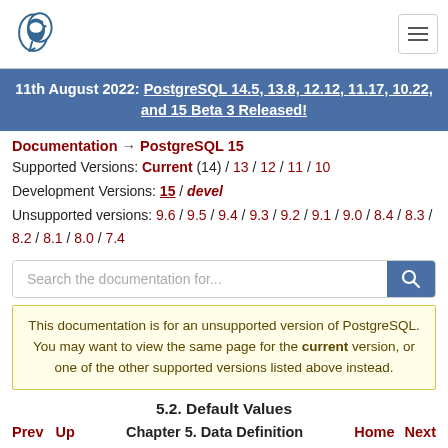PostgreSQL logo and navigation hamburger menu
11th August 2022: PostgreSQL 14.5, 13.8, 12.12, 11.17, 10.22, and 15 Beta 3 Released!
Documentation → PostgreSQL 15
Supported Versions: Current (14) / 13 / 12 / 11 / 10
Development Versions: 15 / devel
Unsupported versions: 9.6 / 9.5 / 9.4 / 9.3 / 9.2 / 9.1 / 9.0 / 8.4 / 8.3 / 8.2 / 8.1 / 8.0 / 7.4
Search the documentation for...
This documentation is for an unsupported version of PostgreSQL. You may want to view the same page for the current version, or one of the other supported versions listed above instead.
5.2. Default Values
Prev  Up  Chapter 5. Data Definition  Home  Next